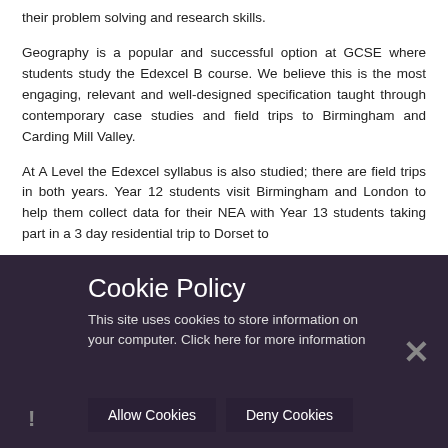their problem solving and research skills.
Geography is a popular and successful option at GCSE where students study the Edexcel B course. We believe this is the most engaging, relevant and well-designed specification taught through contemporary case studies and field trips to Birmingham and Carding Mill Valley.
At A Level the Edexcel syllabus is also studied; there are field trips in both years. Year 12 students visit Birmingham and London to help them collect data for their NEA with Year 13 students taking part in a 3 day residential trip to Dorset to study coastal landforms and...
Cookie Policy
This site uses cookies to store information on your computer. Click here for more information